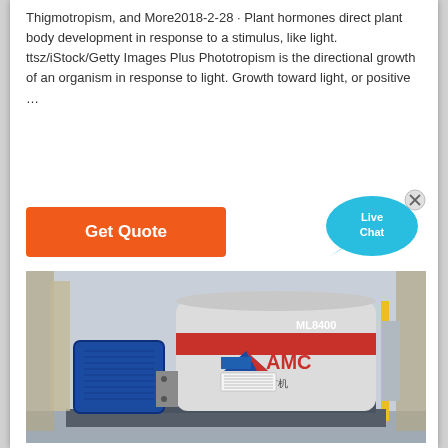Thigmotropism, and More2018-2-28 · Plant hormones direct plant body development in response to a stimulus, like light. ttsz/iStock/Getty Images Plus Phototropism is the directional growth of an organism in response to light. Growth toward light, or positive ...
[Figure (other): Orange 'Get Quote' button]
[Figure (other): Live Chat speech bubble widget in blue/cyan]
[Figure (photo): Industrial mining/milling machine labeled AMC ML8400 with a blue electric motor on the left and a large cylindrical body with red band, Chinese characters and AMC logo, in an industrial setting.]